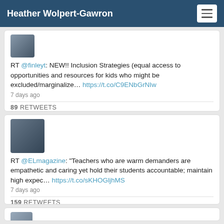Heather Wolpert-Gawron
RT @finleyt: NEW!! Inclusion Strategies (equal access to opportunities and resources for kids who might be excluded/marginalize… https://t.co/C9ENbGrNIw
7 days ago
89 RETWEETS
RT @ELmagazine: "Teachers who are warm demanders are empathetic and caring yet hold their students accountable; maintain high expec… https://t.co/sKHOGljhMS
7 days ago
159 RETWEETS